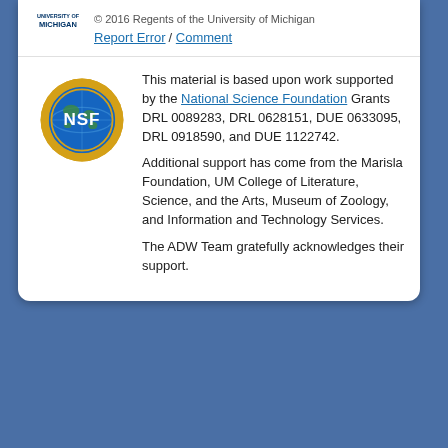© 2016 Regents of the University of Michigan
Report Error / Comment
[Figure (logo): NSF (National Science Foundation) circular badge logo with gold gear border and blue globe center]
This material is based upon work supported by the National Science Foundation Grants DRL 0089283, DRL 0628151, DUE 0633095, DRL 0918590, and DUE 1122742.
Additional support has come from the Marisla Foundation, UM College of Literature, Science, and the Arts, Museum of Zoology, and Information and Technology Services.
The ADW Team gratefully acknowledges their support.